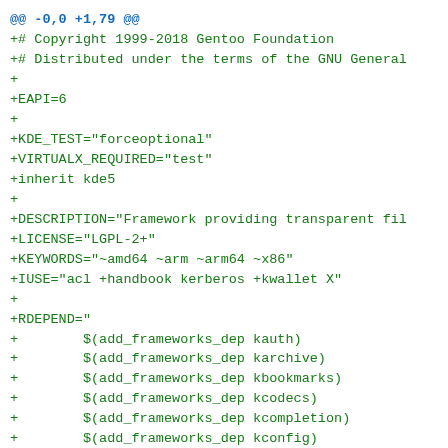@@ -0,0 +1,79 @@
+# Copyright 1999-2018 Gentoo Foundation
+# Distributed under the terms of the GNU General
+
+EAPI=6
+
+KDE_TEST="forceoptional"
+VIRTUALX_REQUIRED="test"
+inherit kde5
+
+DESCRIPTION="Framework providing transparent fil
+LICENSE="LGPL-2+"
+KEYWORDS="~amd64 ~arm ~arm64 ~x86"
+IUSE="acl +handbook kerberos +kwallet X"
+
+RDEPEND="
+        $(add_frameworks_dep kauth)
+        $(add_frameworks_dep karchive)
+        $(add_frameworks_dep kbookmarks)
+        $(add_frameworks_dep kcodecs)
+        $(add_frameworks_dep kcompletion)
+        $(add_frameworks_dep kconfig)